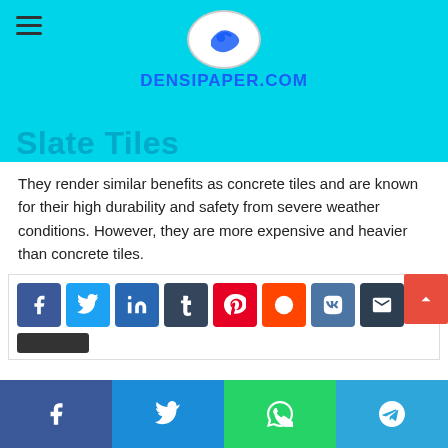DENSIPAPER.COM — Slate Tiles
They render similar benefits as concrete tiles and are known for their high durability and safety from severe weather conditions. However, they are more expensive and heavier than concrete tiles.
If you reside in Alberta and want your house to survive the toughest weather conditions with ease, then go for metal roofing. Though a little pricey, but they will definitely give you a great Return on Investment.
[Figure (other): Social sharing buttons: Facebook, Twitter, LinkedIn, Tumblr, Pinterest, Reddit, VK, Email, and a scroll-to-top button in red. Below is a dark bar. Bottom navigation bar with Facebook, Twitter, WhatsApp, Telegram icons.]